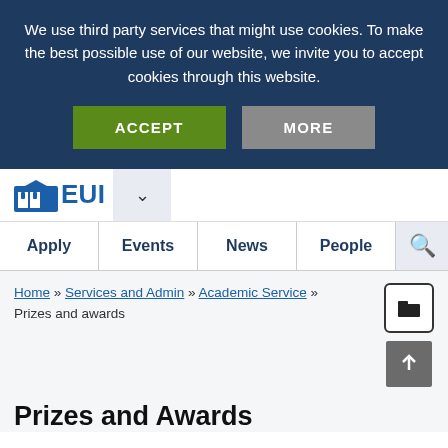We use third party services that might use cookies. To make the best possible use of our website, we invite you to accept cookies through this website.
ACCEPT | MORE
[Figure (logo): EUI logo with blue house/arch icon and text 'EUI']
Apply | Events | News | People | Search
Home » Services and Admin » Academic Service » Prizes and awards
Prizes and Awards